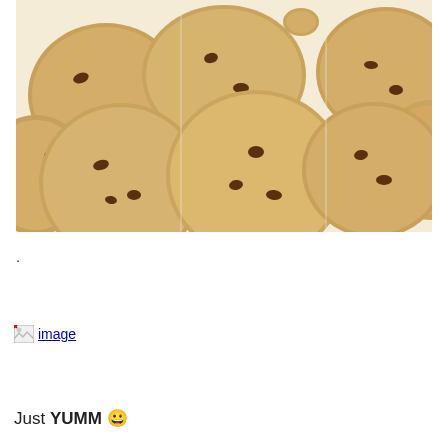[Figure (photo): Overhead photo of multiple chocolate chip cookies arranged on a white surface]
.
[Figure (photo): Broken image placeholder with alt text 'image']
Just YUMM 😀